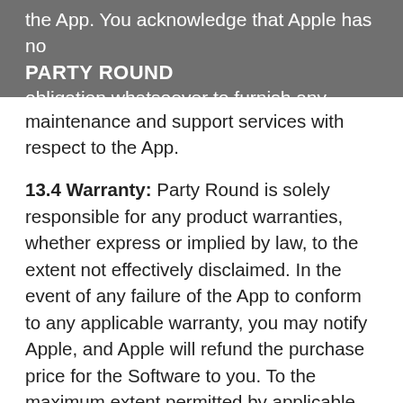PARTY ROUND
the App. You acknowledge that Apple has no obligation whatsoever to furnish any maintenance and support services with respect to the App.
13.4 Warranty: Party Round is solely responsible for any product warranties, whether express or implied by law, to the extent not effectively disclaimed. In the event of any failure of the App to conform to any applicable warranty, you may notify Apple, and Apple will refund the purchase price for the Software to you. To the maximum extent permitted by applicable law, Apple will have no other warranty obligation whatsoever with respect to the App, and any other claims, losses, liabilities, damages, costs or expenses attributable to any failure to conform to any warranty will be Party